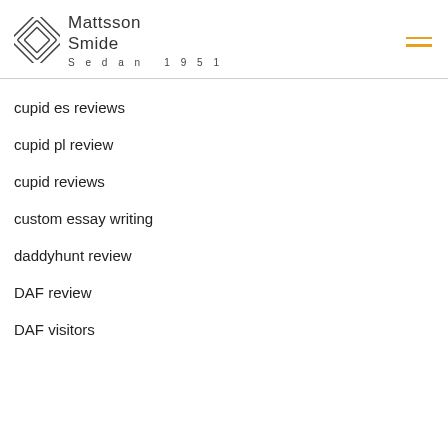Mattsson Smide — Sedan 1951
cupid es reviews
cupid pl review
cupid reviews
custom essay writing
daddyhunt review
DAF review
DAF visitors